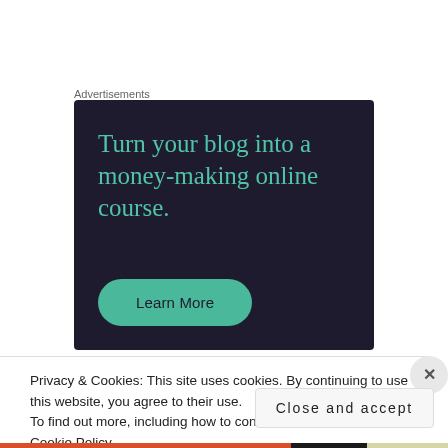Advertisements
[Figure (other): Advertisement banner with dark navy background. Large teal serif text reads: 'Turn your blog into a money-making online course.' Below is a rounded teal button labeled 'Learn More'.]
Privacy & Cookies: This site uses cookies. By continuing to use this website, you agree to their use.
To find out more, including how to control cookies, see here: Cookie Policy